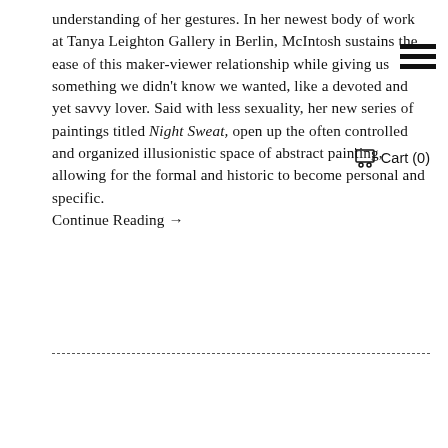understanding of her gestures. In her newest body of work at Tanya Leighton Gallery in Berlin, McIntosh sustains the ease of this maker-viewer relationship while giving us something we didn't know we wanted, like a devoted and yet savvy lover. Said with less sexuality, her new series of paintings titled Night Sweat, open up the often controlled and organized illusionistic space of abstract painting, allowing for the formal and historic to become personal and specific. Continue Reading →
[Figure (other): Hamburger menu icon (three horizontal black bars) overlaid in upper right area of text, and a shopping cart icon with 'Cart (0)' label overlaid mid-right on the text]